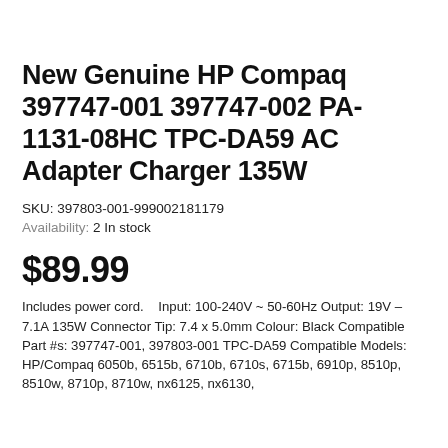New Genuine HP Compaq 397747-001 397747-002 PA-1131-08HC TPC-DA59 AC Adapter Charger 135W
SKU: 397803-001-999002181179
Availability: 2 In stock
$89.99
Includes power cord.   Input: 100-240V ~ 50-60Hz Output: 19V – 7.1A 135W Connector Tip: 7.4 x 5.0mm Colour: Black Compatible Part #s: 397747-001, 397803-001 TPC-DA59 Compatible Models: HP/Compaq 6050b, 6515b, 6710b, 6710s, 6715b, 6910p, 8510p, 8510w, 8710p, 8710w, nx6125, nx6130, ...